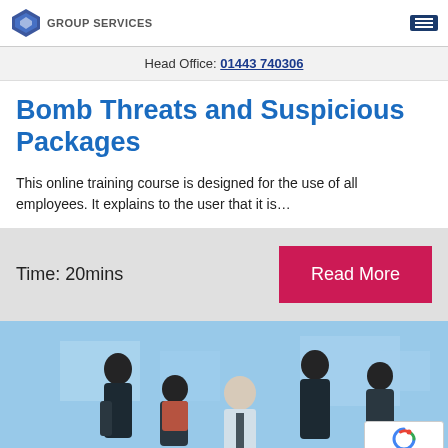GROUP SERVICES
Head Office: 01443 740306
Bomb Threats and Suspicious Packages
This online training course is designed for the use of all employees. It explains to the user that it is…
Time: 20mins
Read More
[Figure (photo): Office meeting scene with several people in business attire gathered around a person seated in a chair, light blue tinted background]